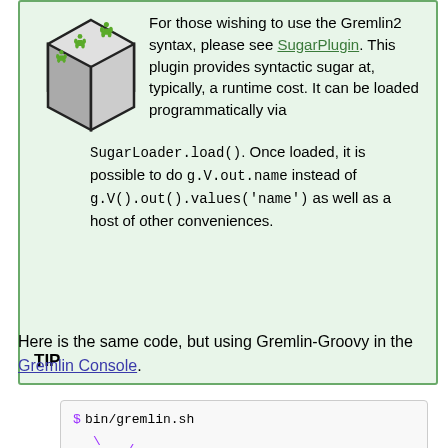TIP: For those wishing to use the Gremlin2 syntax, please see SugarPlugin. This plugin provides syntactic sugar at, typically, a runtime cost. It can be loaded programmatically via SugarLoader.load(). Once loaded, it is possible to do g.V.out.name instead of g.V().out().values('name') as well as a host of other conveniences.
Here is the same code, but using Gremlin-Groovy in the Gremlin Console.
[Figure (screenshot): Code block showing: $ bin/gremlin.sh with Gremlin console ASCII art logo]